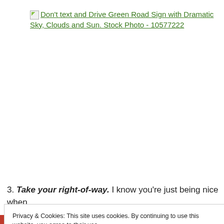[Figure (other): Broken image icon followed by a hyperlink text: Don't text and Drive Green Road Sign with Dramatic Sky, Clouds and Sun. Stock Photo - 10577222]
3. Take your right-of-way. I know you're just being nice when
Privacy & Cookies: This site uses cookies. By continuing to use this website, you agree to their use.
To find out more, including how to control cookies, see here: Cookie Policy
Close and accept